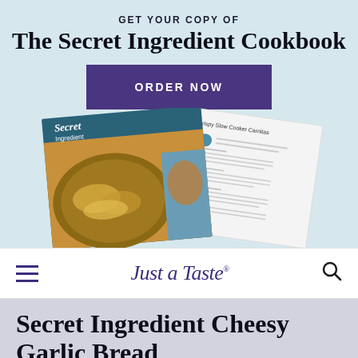GET YOUR COPY OF
The Secret Ingredient Cookbook
ORDER NOW
[Figure (photo): Photo of 'The Secret Ingredient' cookbook cover featuring food dishes, alongside a recipe page]
Just a Taste
Secret Ingredient Cheesy Garlic Bread